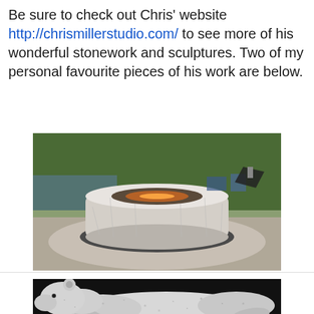Be sure to check out Chris' website http://chrismillerstudio.com/ to see more of his wonderful stonework and sculptures. Two of my personal favourite pieces of his work are below.
[Figure (photo): Outdoor circular stone firepit with granite top, Vermount bluestone base, and marble fire insert, with trees and water visible in background]
Firepit by Chris Miller. Granite top, Vermount bluestone and Marble fire insert.
[Figure (photo): Stone sculpture of a polar bear on a black background, shown lying/crouching with textured granite surface]